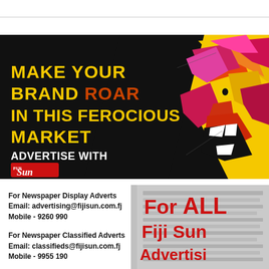[Figure (illustration): Fiji Sun advertisement banner: black and yellow background with geometric low-poly lion. Text: MAKE YOUR BRAND ROAR IN THIS FEROCIOUS MARKET. ADVERTISE WITH Fiji Sun logo.]
For Newspaper Display Adverts
Email: advertising@fijisun.com.fj
Mobile - 9260 990
For Newspaper Classified Adverts
Email: classifieds@fijisun.com.fj
Mobile - 9955 190
For Website Adverts
[Figure (illustration): For All Fiji Sun Advertising text in large bold red letters overlaid on a grayscale newspaper photo]